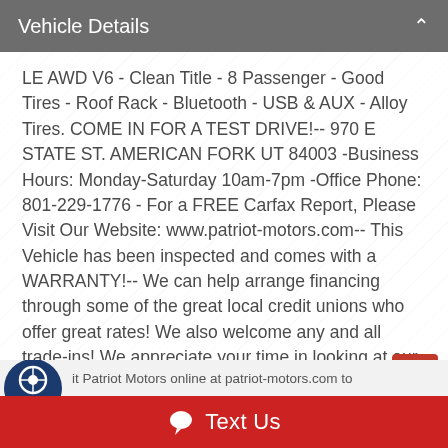Vehicle Details
LE AWD V6 - Clean Title - 8 Passenger - Good Tires - Roof Rack - Bluetooth - USB & AUX - Alloy Tires. COME IN FOR A TEST DRIVE!-- 970 E STATE ST. AMERICAN FORK UT 84003 -Business Hours: Monday-Saturday 10am-7pm -Office Phone: 801-229-1776 - For a FREE Carfax Report, Please Visit Our Website: www.patriot-motors.com-- This Vehicle has been inspected and comes with a WARRANTY!-- We can help arrange financing through some of the great local credit unions who offer great rates! We also welcome any and all trade-ins! We appreciate your time in looking at our vehicles and look forward to working with you soon.
it Patriot Motors online at patriot-motors.com to